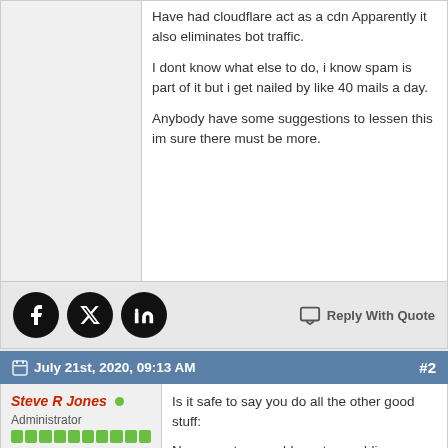Have had cloudflare act as a cdn Apparently it also eliminates bot traffic.

I dont know what else to do, i know spam is part of it but i get nailed by like 40 mails a day.

Anybody have some suggestions to lessen this im sure there must be more.
Reply With Quote
July 21st, 2020, 09:13 AM  #2
Steve R Jones
Administrator
Is it safe to say you do all the other good stuff:

Never post your address to a public site. (i know i know)